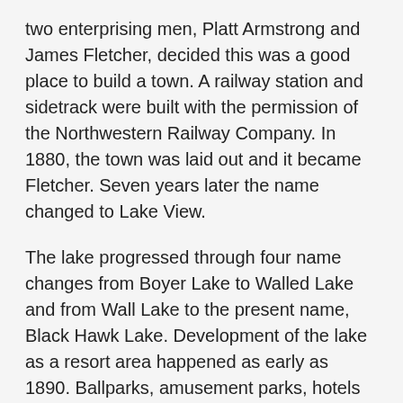two enterprising men, Platt Armstrong and James Fletcher, decided this was a good place to build a town. A railway station and sidetrack were built with the permission of the Northwestern Railway Company. In 1880, the town was laid out and it became Fletcher. Seven years later the name changed to Lake View.
The lake progressed through four name changes from Boyer Lake to Walled Lake and from Wall Lake to the present name, Black Hawk Lake. Development of the lake as a resort area happened as early as 1890. Ballparks, amusement parks, hotels and cottage rentals flourished at the East End and Lakewood areas.
Historic Stone Piers